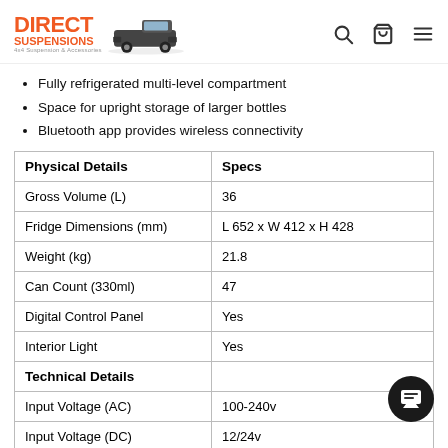Direct Suspensions — 4x4 Suspension & Accessories
Fully refrigerated multi-level compartment
Space for upright storage of larger bottles
Bluetooth app provides wireless connectivity
| Physical Details | Specs |
| --- | --- |
| Gross Volume (L) | 36 |
| Fridge Dimensions (mm) | L 652 x W 412 x H 428 |
| Weight (kg) | 21.8 |
| Can Count (330ml) | 47 |
| Digital Control Panel | Yes |
| Interior Light | Yes |
| Technical Details |  |
| Input Voltage (AC) | 100-240v |
| Input Voltage (DC) | 12/24v |